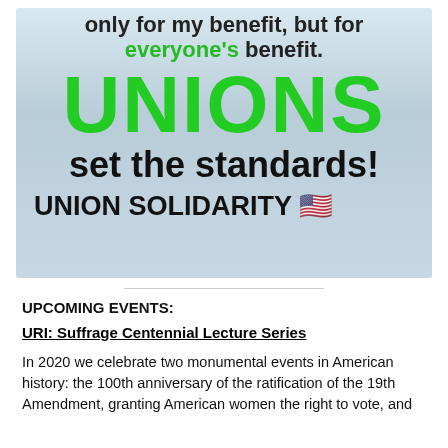[Figure (illustration): Union solidarity promotional image with text: 'only for my benefit, but for everyone's benefit. UNIONS set the standards! UNION SOLIDARITY 🇺🇸' on a light blue-grey gradient background.]
UPCOMING EVENTS:
URI: Suffrage Centennial Lecture Series
In 2020 we celebrate two monumental events in American history: the 100th anniversary of the ratification of the 19th Amendment, granting American women the right to vote, and